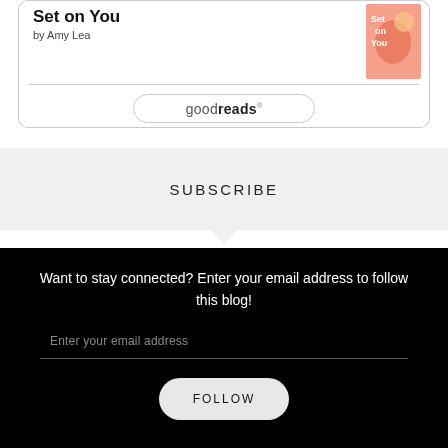Set on You
by Amy Lea
[Figure (illustration): Book cover for 'Set on You' by Amy Lea — colorful illustrated cover with orange/coral background]
[Figure (logo): Goodreads logo button — rounded rectangle with 'goodreads' text]
SUBSCRIBE
Want to stay connected? Enter your email address to follow this blog!
Enter your email address
FOLLOW